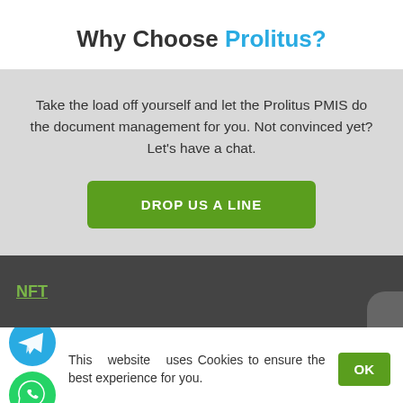Why Choose Prolitus?
Take the load off yourself and let the Prolitus PMIS do the document management for you. Not convinced yet? Let's have a chat.
DROP US A LINE
NFT
This website uses Cookies to ensure the best experience for you.
OK